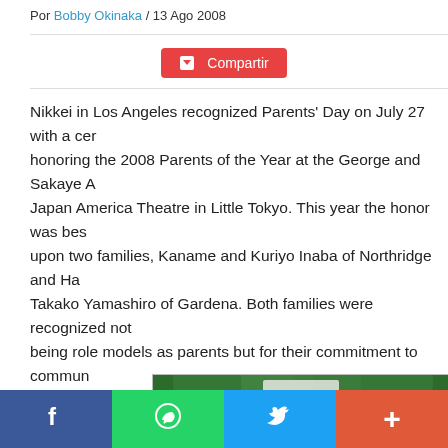Por Bobby Okinaka / 13 Ago 2008
Compartir
Nikkei in Los Angeles recognized Parents' Day on July 27 with a ceremony honoring the 2008 Parents of the Year at the George and Sakaye A Japan America Theatre in Little Tokyo. This year the honor was bestowed upon two families, Kaname and Kuriyo Inaba of Northridge and Ha Takako Yamashiro of Gardena. Both families were recognized not only for being role models as parents but for their commitment to community service as well.
[Figure (photo): Group of people on stage at ceremony, holding awards and certificates, with green backdrop and Japanese characters visible. A woman wearing a crown and sash is on the right.]
Facebook | WhatsApp | Twitter | More